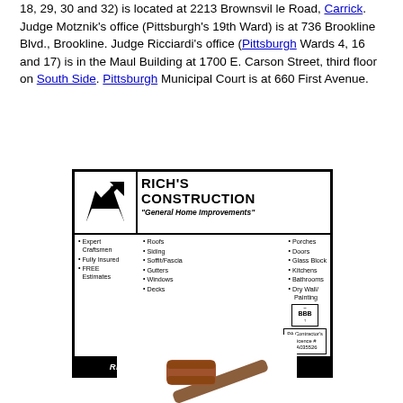18, 29, 30 and 32) is located at 2213 Brownsville Road, Carrick. Judge Motznik's office (Pittsburgh's 19th Ward) is at 736 Brookline Blvd., Brookline. Judge Ricciardi's office (Pittsburgh Wards 4, 16 and 17) is in the Maul Building at 1700 E. Carson Street, third floor on South Side. Pittsburgh Municipal Court is at 660 First Avenue.
[Figure (illustration): Advertisement for Rich's Construction — General Home Improvements. Services listed: Roofs, Porches, Siding, Doors, Soffit/Fascia, Glass Block, Gutters, Kitchens, Windows, Bathrooms, Decks, Dry Wall/Painting. Also lists Expert Craftsmen, Fully Insured, FREE Estimates. BBB logo shown. PA Contractor's Licence # PA035526. Contact: Richard Lesikiewicz, Jr. 412-481-2334.]
[Figure (photo): Partial photo of a wooden judge's gavel at the bottom of the page.]